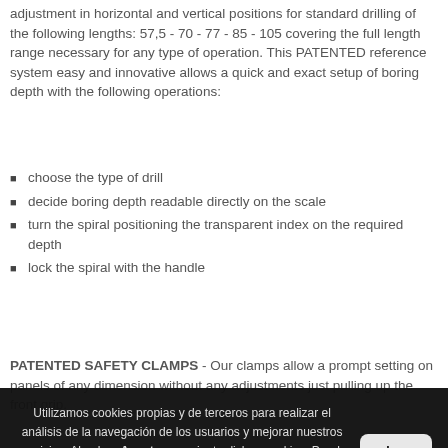adjustment in horizontal and vertical positions for standard drilling of the following lengths: 57,5 - 70 - 77 - 85 - 105 covering the full length range necessary for any type of operation. This PATENTED reference system easy and innovative allows a quick and exact setup of boring depth with the following operations:
choose the type of drill
decide boring depth readable directly on the scale
turn the spiral positioning the transparent index on the required depth
lock the spiral with the handle
PATENTED SAFETY CLAMPS - Our clamps allow a prompt setting on panels of any dimension without any adjustments just pulling up the front grip.
Utilizamos cookies propias y de terceros para realizar el análisis de la navegación de los usuarios y mejorar nuestros servicios. Al pulsar Aceptar, consiente dichas cookies. Puede obtener más información, o bien conocer cómo cambiar la configuración, pulsando en Más información.